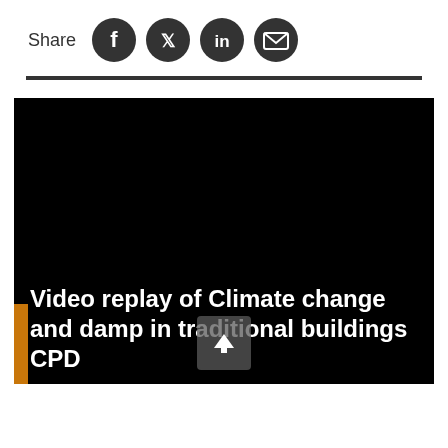Share
[Figure (screenshot): Social share icons: Facebook, Twitter, LinkedIn, Email]
[Figure (screenshot): Video player showing black screen with title overlay: 'Video replay of Climate change and damp in traditional buildings CPD']